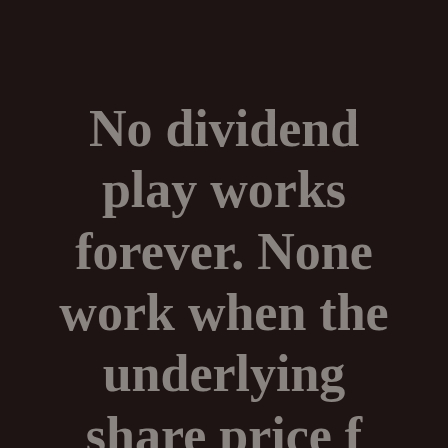No dividend play works forever. None work when the underlying share price f... d